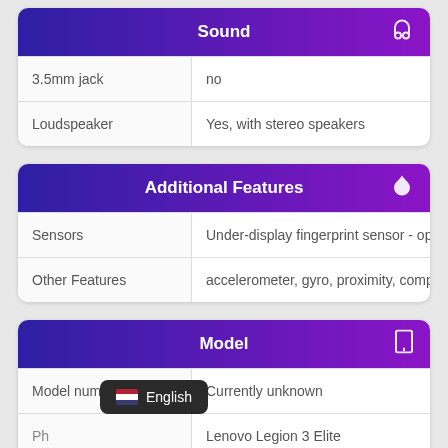|  | Sound |
| --- | --- |
| 3.5mm jack | no |
| Loudspeaker | Yes, with stereo speakers |
|  | Additional Features |
| --- | --- |
| Sensors | Under-display fingerprint sensor - op |
| Other Features | accelerometer, gyro, proximity, comp |
|  | Model |
| --- | --- |
| Model number | Currently unknown |
| Ph... | Lenovo Legion 3 Elite |
English